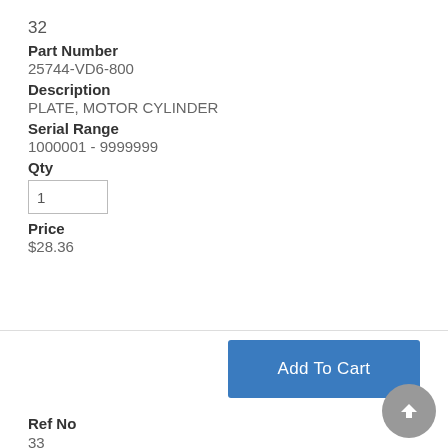32
Part Number
25744-VD6-800
Description
PLATE, MOTOR CYLINDER
Serial Range
1000001 - 9999999
Qty
Price
$28.36
Add To Cart
Ref No
33
Part Number
46920-758-040
Description
LEVER, NEUTRAL VALVE
Serial Range